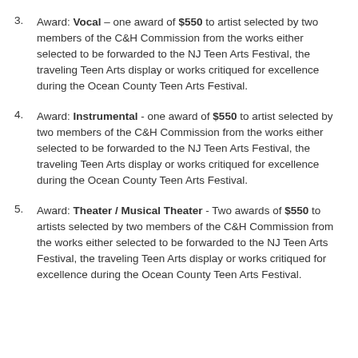Award: Vocal – one award of $550 to artist selected by two members of the C&H Commission from the works either selected to be forwarded to the NJ Teen Arts Festival, the traveling Teen Arts display or works critiqued for excellence during the Ocean County Teen Arts Festival.
Award: Instrumental - one award of $550 to artist selected by two members of the C&H Commission from the works either selected to be forwarded to the NJ Teen Arts Festival, the traveling Teen Arts display or works critiqued for excellence during the Ocean County Teen Arts Festival.
Award: Theater / Musical Theater - Two awards of $550 to artists selected by two members of the C&H Commission from the works either selected to be forwarded to the NJ Teen Arts Festival, the traveling Teen Arts display or works critiqued for excellence during the Ocean County Teen Arts Festival.